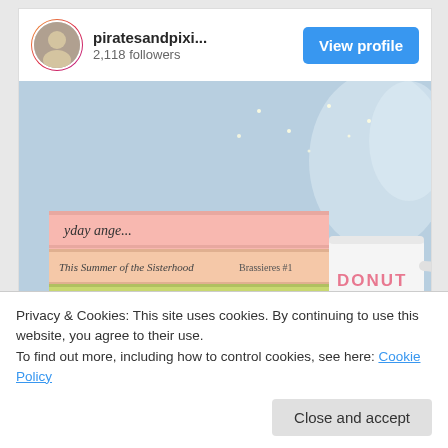[Figure (screenshot): Instagram profile header showing avatar with gradient ring, username 'piratesandpixi...' with 2,118 followers, and a blue 'View profile' button]
[Figure (photo): Photo of a stack of colorful paperback books including 'Everyday Angel', 'This Summer of the Sisterhood', 'The Beggars Ride' by Theresa Nelson, 'The Traveling Pants Brassieres #1', next to a white mug reading 'DONUT EVER', set against a pale blue background with fairy lights]
Privacy & Cookies: This site uses cookies. By continuing to use this website, you agree to their use.
To find out more, including how to control cookies, see here: Cookie Policy
Close and accept